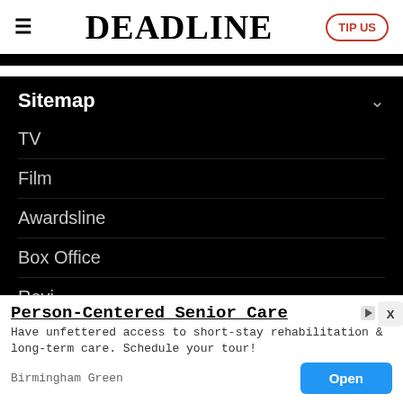≡  DEADLINE  TIP US
Sitemap
TV
Film
Awardsline
Box Office
Revi…
Person-Centered Senior Care
Have unfettered access to short-stay rehabilitation & long-term care. Schedule your tour!
Birmingham Green  Open